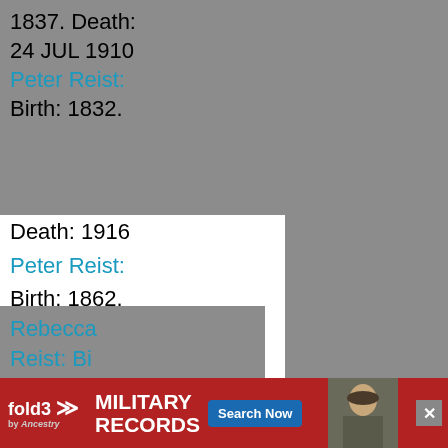1837. Death: 24 JUL 1910
Peter Reist: Birth: 1832.
Death: 1916
Peter Reist: Birth: 1862.
Peter Reist: Birth: 1726.
Phidella Reist: Birth: 1871.
Rachel Reist: Birth: 1894.
Rachel Reist: Birth: 1862. Death: 1938
Rebecca Reist: Bi...
[Figure (infographic): Advertisement banner for fold3 Military Records by Ancestry with Search Now button and soldier photo]